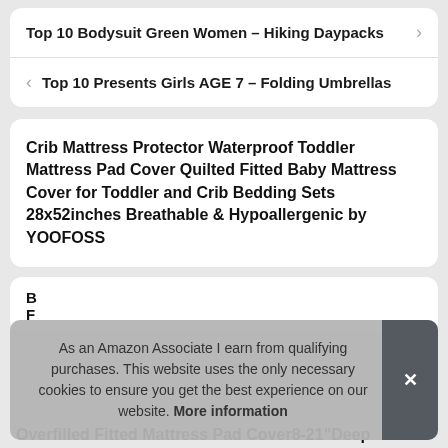Top 10 Bodysuit Green Women – Hiking Daypacks
Top 10 Presents Girls AGE 7 – Folding Umbrellas
Crib Mattress Protector Waterproof Toddler Mattress Pad Cover Quilted Fitted Baby Mattress Cover for Toddler and Crib Bedding Sets 28x52inches Breathable & Hypoallergenic by YOOFOSS
As an Amazon Associate I earn from qualifying purchases. This website uses the only necessary cookies to ensure you get the best experience on our website. More information
Overfilled Fitted Mattress Pad Cover8-21"Deep